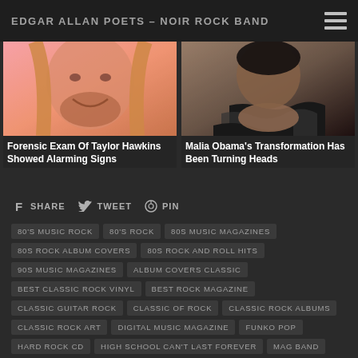EDGAR ALLAN POETS – NOIR ROCK BAND
[Figure (photo): Man with long blonde hair and beard smiling on pink background]
Forensic Exam Of Taylor Hawkins Showed Alarming Signs
[Figure (photo): Woman in zebra print clothing]
Malia Obama's Transformation Has Been Turning Heads
SHARE   TWEET   PIN
80'S MUSIC ROCK
80'S ROCK
80S MUSIC MAGAZINES
80S ROCK ALBUM COVERS
80S ROCK AND ROLL HITS
90S MUSIC MAGAZINES
ALBUM COVERS CLASSIC
BEST CLASSIC ROCK VINYL
BEST ROCK MAGAZINE
CLASSIC GUITAR ROCK
CLASSIC OF ROCK
CLASSIC ROCK ALBUMS
CLASSIC ROCK ART
DIGITAL MUSIC MAGAZINE
FUNKO POP
HARD ROCK CD
HIGH SCHOOL CAN'T LAST FOREVER
MAG BAND